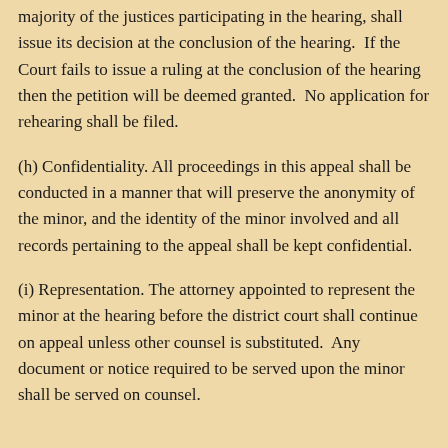majority of the justices participating in the hearing, shall issue its decision at the conclusion of the hearing.  If the Court fails to issue a ruling at the conclusion of the hearing then the petition will be deemed granted.  No application for rehearing shall be filed.
(h) Confidentiality. All proceedings in this appeal shall be conducted in a manner that will preserve the anonymity of the minor, and the identity of the minor involved and all records pertaining to the appeal shall be kept confidential.
(i) Representation. The attorney appointed to represent the minor at the hearing before the district court shall continue on appeal unless other counsel is substituted.  Any document or notice required to be served upon the minor shall be served on counsel.